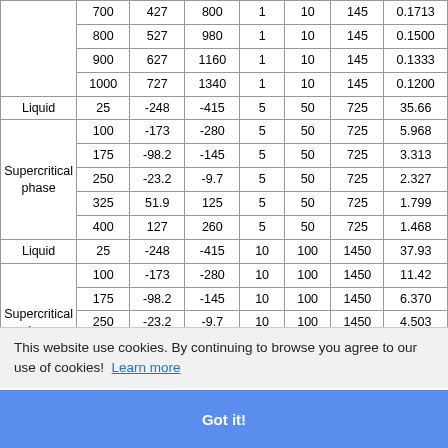| Phase | T (K) | T (°C) | T (°F) | P (MPa) | P (bar) | P (psi) | Density |
| --- | --- | --- | --- | --- | --- | --- | --- |
|  | 700 | 427 | 800 | 1 | 10 | 145 | 0.1713 |
|  | 800 | 527 | 980 | 1 | 10 | 145 | 0.1500 |
|  | 900 | 627 | 1160 | 1 | 10 | 145 | 0.1333 |
|  | 1000 | 727 | 1340 | 1 | 10 | 145 | 0.1200 |
| Liquid | 25 | -248 | -415 | 5 | 50 | 725 | 35.66 |
|  | 100 | -173 | -280 | 5 | 50 | 725 | 5.968 |
| Supercritical phase | 175 | -98.2 | -145 | 5 | 50 | 725 | 3.313 |
|  | 250 | -23.2 | -9.7 | 5 | 50 | 725 | 2.327 |
|  | 325 | 51.9 | 125 | 5 | 50 | 725 | 1.799 |
|  | 400 | 127 | 260 | 5 | 50 | 725 | 1.468 |
| Liquid | 25 | -248 | -415 | 10 | 100 | 1450 | 37.93 |
|  | 100 | -173 | -280 | 10 | 100 | 1450 | 11.42 |
| Supercritical phase | 175 | -98.2 | -145 | 10 | 100 | 1450 | 6.370 |
|  | 250 | -23.2 | -9.7 | 10 | 100 | 1450 | 4.503 |
|  | 325 | 51.9 | 125 | 10 | 100 | 1450 | 3.501 |
|  | 400 | 127 | 260 | 10 | 100 | 1450 | 2.869 |
This website use cookies. By continuing to browse you agree to our use of cookies! Learn more
Got it!
Density converter